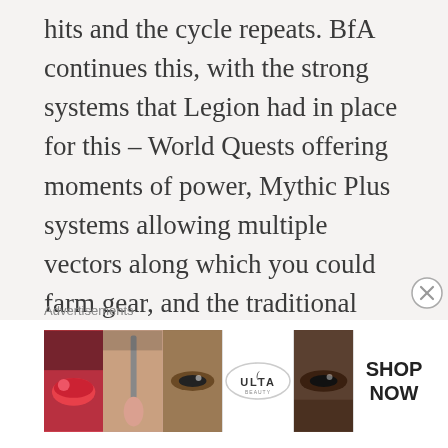hits and the cycle repeats. BfA continues this, with the strong systems that Legion had in place for this – World Quests offering moments of power, Mythic Plus systems allowing multiple vectors along which you could farm gear, and the traditional raid mechanisms that have always existed in the game, coupled with warforging and titanforging, systems which, while contentious, added an element of desire to do more content.
BfA however, through the introduction of Azerite gear, invalidates much of this by
Advertisements
[Figure (photo): ULTA beauty advertisement banner with makeup imagery and SHOP NOW call to action]